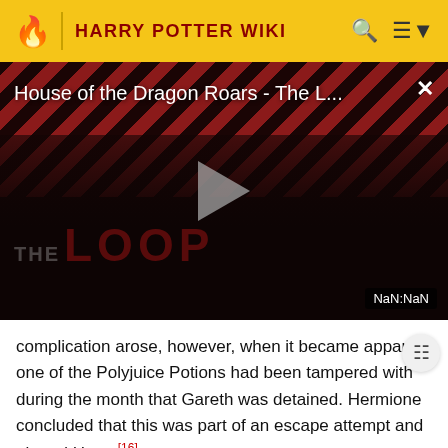HARRY POTTER WIKI
[Figure (screenshot): Video player showing 'House of the Dragon Roars - The L...' with diagonal red/dark stripes background, play button, silhouetted figures, and THE LOOP branding. NaN:NaN displayed in corner.]
complication arose, however, when it became apparent one of the Polyjuice Potions had been tampered with during the month that Gareth was detained. Hermione concluded that this was part of an escape attempt and alerted Harry.[16]